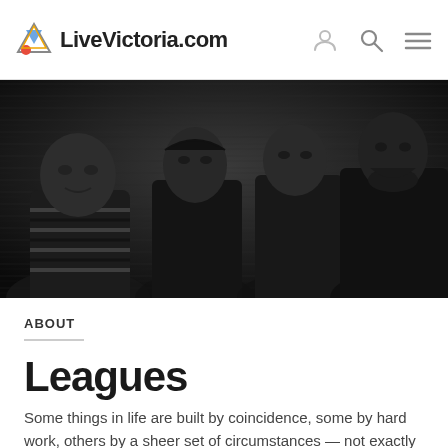LiveVictoria.com
[Figure (photo): Black and white photo of four men (a band) posing together against a dark wooden background]
ABOUT
Leagues
Some things in life are built by coincidence, some by hard work, others by a sheer set of circumstances — not exactly